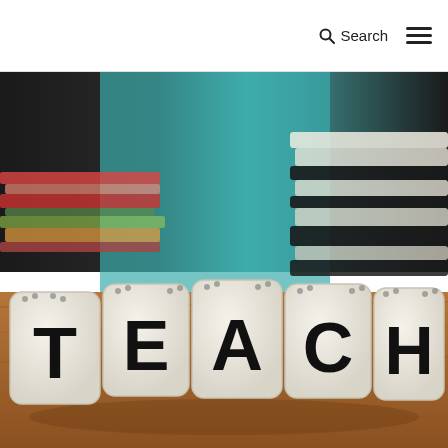Search
[Figure (photo): Five white letter dice spelling the word TEACH arranged in a row on a wooden surface, with stacks of books blurred in the background against a teal/dark backdrop.]